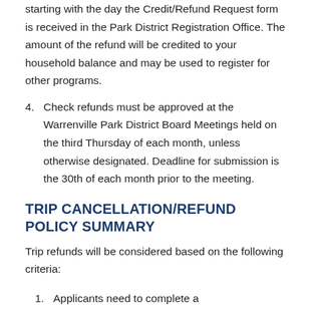starting with the day the Credit/Refund Request form is received in the Park District Registration Office. The amount of the refund will be credited to your household balance and may be used to register for other programs.
4. Check refunds must be approved at the Warrenville Park District Board Meetings held on the third Thursday of each month, unless otherwise designated. Deadline for submission is the 30th of each month prior to the meeting.
TRIP CANCELLATION/REFUND POLICY SUMMARY
Trip refunds will be considered based on the following criteria:
1. Applicants need to complete a